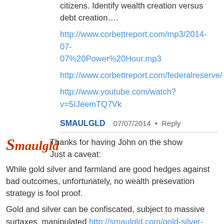citizens. Identify wealth creation versus debt creation….
http://www.corbettreport.com/mp3/2014-07-07%20Power%20Hour.mp3
http://www.corbettreport.com/federalreserve/
http://www.youtube.com/watch?v=5IJeemTQ7Vk
SMAULGLD  07/07/2014 • Reply
[Figure (logo): Smaulgld logo in red italic serif font]
Thanks for having John on the show
Just a caveat:
While gold silver and farmland are good hedges against bad outcomes, unfortunately, no wealth presevation strategy is fool proof.

Gold and silver can be confiscated, subject to massive surtaxes, manipulated http://smaulgld.com/gold-silver-price-manipulation/, or stolen.

Land can be confiscated (on bogus charges of illegal activity